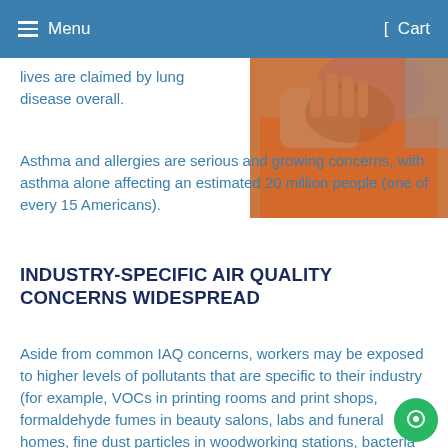Menu   Cart
lives are claimed by lung disease overall.
[Figure (photo): Person in orange shirt with head resting on hand, appearing distressed or tired, viewed from side/above]
Asthma and allergies are serious and growing concerns, with asthma alone affecting an estimated 20 million people (one of every 15 Americans).
INDUSTRY-SPECIFIC AIR QUALITY CONCERNS WIDESPREAD
Aside from common IAQ concerns, workers may be exposed to higher levels of pollutants that are specific to their industry (for example, VOCs in printing rooms and print shops, formaldehyde fumes in beauty salons, labs and funeral homes, fine dust particles in woodworking stations, bacteria and viruses in healthcare settings, toluene, xylene and other chemicals in auto body shops and garages etc).